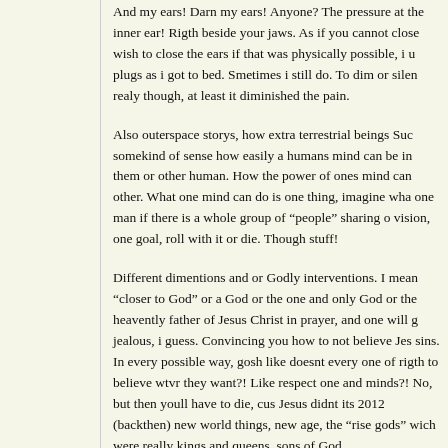And my ears! Darn my ears! Anyone? The pressure at the inner ear! Rigth beside your jaws. As if you cannot close wish to close the ears if that was physically possible, i u plugs as i got to bed. Smetimes i still do. To dim or silen realy though, at least it diminished the pain.
Also outerspace storys, how extra terrestrial beings Suc somekind of sense how easily a humans mind can be in them or other human. How the power of ones mind can other. What one mind can do is one thing, imagine wha one man if there is a whole group of "people" sharing o vision, one goal, roll with it or die. Though stuff!
Different dimentions and or Godly interventions. I mean "closer to God" or a God or the one and only God or the heavently father of Jesus Christ in prayer, and one will g jealous, i guess. Convincing you how to not believe Jes sins. In every possible way, gosh like doesnt every one of rigth to believe wtvr they want?! Like respect one and minds?! No, but then youll have to die, cus Jesus didnt its 2012 (backthen) new world things, new age, the "rise gods" wich were really kings and queens, sons of God